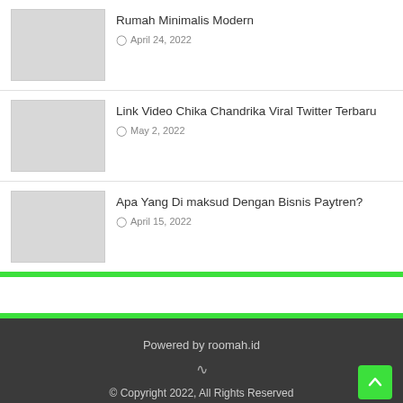Rumah Minimalis Modern — April 24, 2022
Link Video Chika Chandrika Viral Twitter Terbaru — May 2, 2022
Apa Yang Di maksud Dengan Bisnis Paytren? — April 15, 2022
Powered by roomah.id
© Copyright 2022, All Rights Reserved